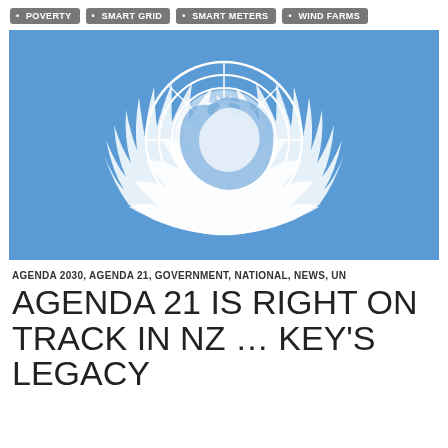POVERTY
SMART GRID
SMART METERS
WIND FARMS
[Figure (illustration): United Nations flag — light blue background with the UN emblem (world map in polar projection surrounded by olive branches) in white]
AGENDA 2030, AGENDA 21, GOVERNMENT, NATIONAL, NEWS, UN
AGENDA 21 IS RIGHT ON TRACK IN NZ … KEY'S LEGACY